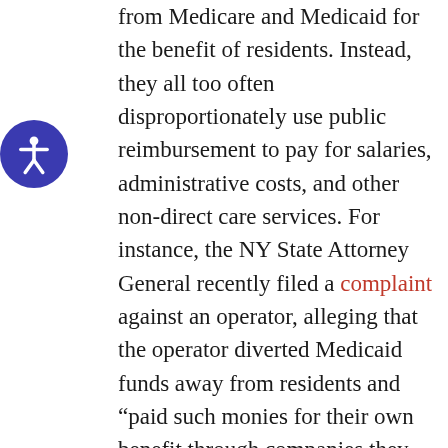from Medicare and Medicaid for the benefit of residents. Instead, they all too often disproportionately use public reimbursement to pay for salaries, administrative costs, and other non-direct care services. For instance, the NY State Attorney General recently filed a complaint against an operator, alleging that the operator diverted Medicaid funds away from residents and “paid such monies for their own benefit through companies they owned or controlled.” An article in The New York Times reports that related-party transactions have become a “common business arrangement, [as] owners of nursing homes outsource a wide variety of goods and services to companies in which they have a financial interest or that they control.” The New York Times confirms that nursing homes with related-party transactions have “fewer nurses and aides